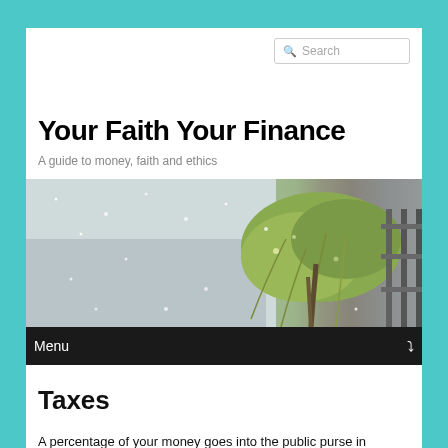Search
Your Faith Your Finance
A guide to money, faith and ethics
[Figure (photo): A willow tree in snow near water, with a railing or fence visible on the right side. Winter scene with falling snow.]
Menu
Taxes
A percentage of your money goes into the public purse in